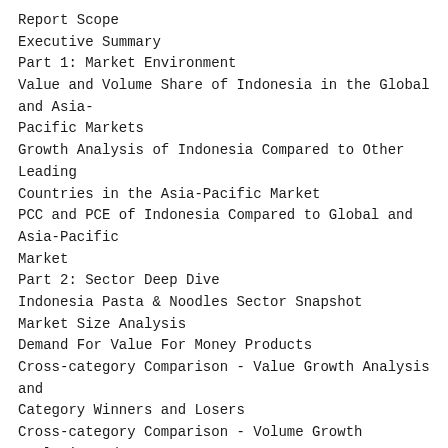Report Scope
Executive Summary
Part 1: Market Environment
Value and Volume Share of Indonesia in the Global and Asia-Pacific Markets
Growth Analysis of Indonesia Compared to Other Leading Countries in the Asia-Pacific Market
PCC and PCE of Indonesia Compared to Global and Asia-Pacific Market
Part 2: Sector Deep Dive
Indonesia Pasta & Noodles Sector Snapshot
Market Size Analysis
Demand For Value For Money Products
Cross-category Comparison - Value Growth Analysis and Category Winners and Losers
Cross-category Comparison - Volume Growth Analysis and Category Winners and Losers
Part 3: Category Deep Dive
Per Capita Consumption Analysis by Category
Market Size Analysis - Category: Ambient Noodles
Market Size Analysis - Category: Ambient Pasta